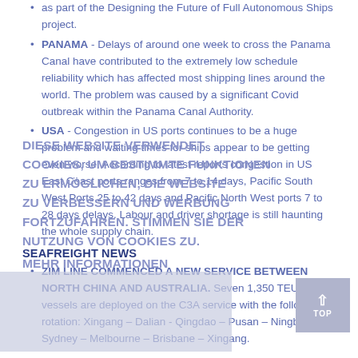as part of the Designing the Future of Full Autonomous Ships project.
PANAMA - Delays of around one week to cross the Panama Canal have contributed to the extremely low schedule reliability which has affected most shipping lines around the world. The problem was caused by a significant Covid outbreak within the Panama Canal Authority.
USA - Congestion in US ports continues to be a huge problem and waiting times for ships appear to be getting even worse. According to latest reports congestion in US East Coast ports ranges from 7 to 14 days, Pacific South West Ports 25 to 42 days and Pacific North West ports 7 to 28 days delays. Labour and driver shortage is still haunting the whole supply chain.
SEAFREIGHT NEWS
ZIM LINE COMMENCED A NEW SERVICE BETWEEN NORTH CHINA AND AUSTRALIA. Seven 1,350 TEU vessels are deployed on the C3A service with the following rotation: Xingang – Dalian - Qingdao – Pusan – Ningbo – Sydney – Melbourne – Brisbane – Xingang.